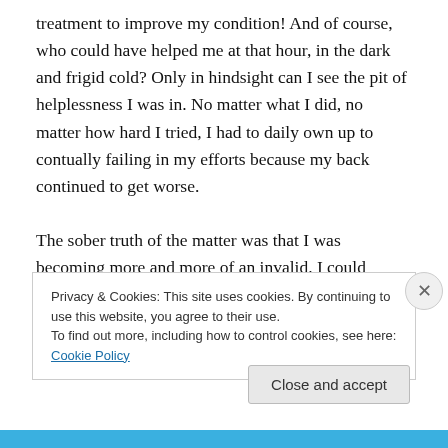treatment to improve my condition! And of course, who could have helped me at that hour, in the dark and frigid cold? Only in hindsight can I see the pit of helplessness I was in. No matter what I did, no matter how hard I tried, I had to daily own up to contually failing in my efforts because my back continued to get worse.

The sober truth of the matter was that I was becoming more and more of an invalid. I could literally do nothing. I lay down repeatedly throughout the day to ice my back. My chiropractor had given me the most basic, mild back
Privacy & Cookies: This site uses cookies. By continuing to use this website, you agree to their use.
To find out more, including how to control cookies, see here: Cookie Policy